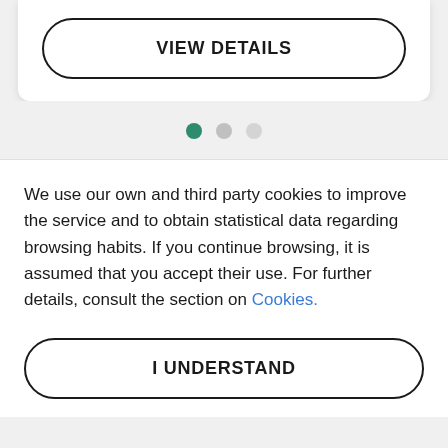VIEW DETAILS
[Figure (other): Three pagination dots: first is teal/green (active), second and third are grey]
We use our own and third party cookies to improve the service and to obtain statistical data regarding browsing habits. If you continue browsing, it is assumed that you accept their use. For further details, consult the section on Cookies.
I UNDERSTAND